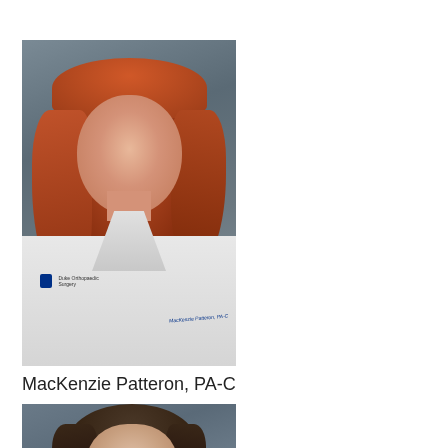[Figure (photo): Professional headshot of a woman with red/auburn hair wearing a white Duke Orthopaedic Surgery lab coat, smiling against a grey background]
MacKenzie Patteron, PA-C
[Figure (photo): Professional headshot of a woman with dark brown hair against a grey background, partially visible (cropped)]